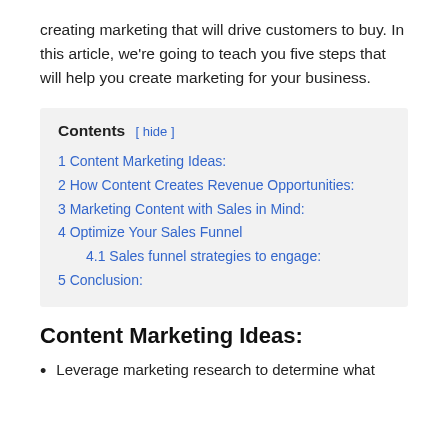creating marketing that will drive customers to buy. In this article, we're going to teach you five steps that will help you create marketing for your business.
| Contents |
| --- |
| 1 Content Marketing Ideas: |
| 2 How Content Creates Revenue Opportunities: |
| 3 Marketing Content with Sales in Mind: |
| 4 Optimize Your Sales Funnel |
| 4.1 Sales funnel strategies to engage: |
| 5 Conclusion: |
Content Marketing Ideas:
Leverage marketing research to determine what